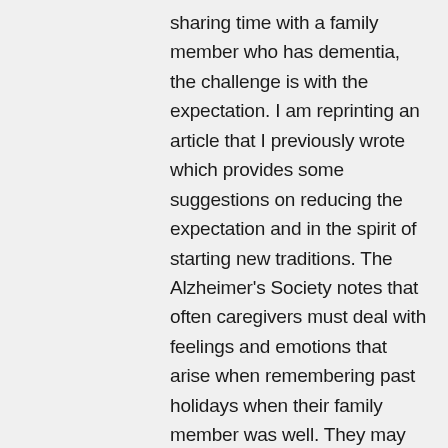sharing time with a family member who has dementia, the challenge is with the expectation. I am reprinting an article that I previously wrote which provides some suggestions on reducing the expectation and in the spirit of starting new traditions. The Alzheimer's Society notes that often caregivers must deal with feelings and emotions that arise when remembering past holidays when their family member was well. They may also feel overwhelmed with trying to maintain holiday traditions while keeping up their care giving responsibilities. They may worry about visitors who don't feel comfortable around a person with dementia or about meeting